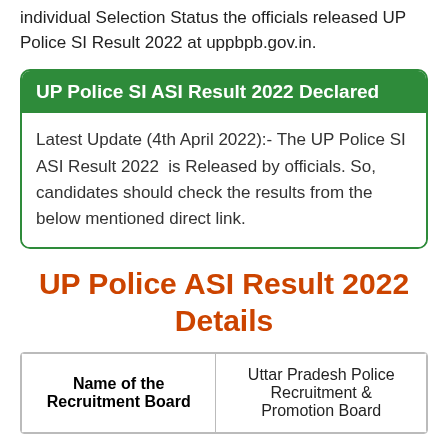individual Selection Status the officials released UP Police SI Result 2022 at uppbpb.gov.in.
UP Police SI ASI Result 2022 Declared
Latest Update (4th April 2022):- The UP Police SI ASI Result 2022 is Released by officials. So, candidates should check the results from the below mentioned direct link.
UP Police ASI Result 2022 Details
| Name of the Recruitment Board |  |
| --- | --- |
| Name of the Recruitment Board | Uttar Pradesh Police Recruitment & Promotion Board |